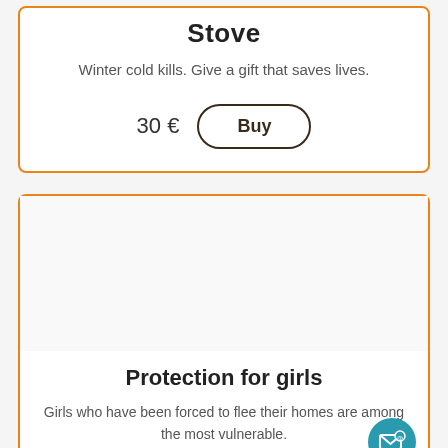Stove
Winter cold kills. Give a gift that saves lives.
30 € Buy
[Figure (other): Empty white image placeholder area for the second card]
Protection for girls
Girls who have been forced to flee their homes are among the most vulnerable.